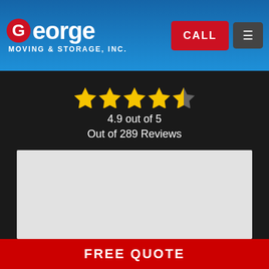George Moving & Storage, Inc.
4.9 out of 5
Out of 289 Reviews
[Figure (other): Gray placeholder content box]
FREE QUOTE